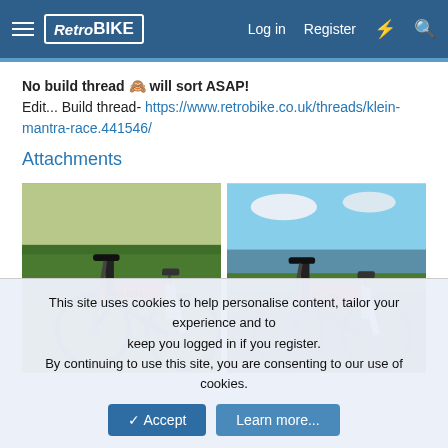RetroBIKE — Log in | Register
No build thread 🙈 will sort ASAP!
Edit... Build thread- https://www.retrobike.co.uk/threads/klein-mantra-race.441546/
Attachments
[Figure (photo): Orange and black Klein Mantra Race full-suspension mountain bike photographed on grass]
[Figure (photo): Orange and black Klein Mantra Race full-suspension mountain bike photographed near a lake/river with green vegetation]
This site uses cookies to help personalise content, tailor your experience and to keep you logged in if you register.
By continuing to use this site, you are consenting to our use of cookies.
✓ Accept | Learn more...